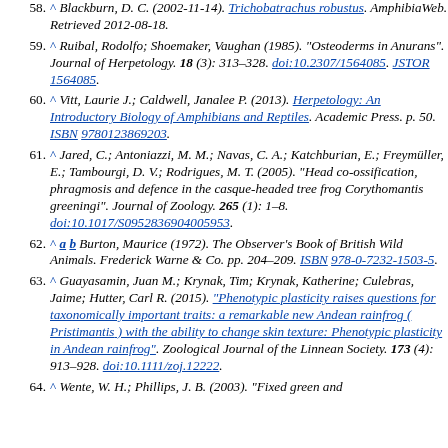58. ^ Blackburn, D.C. (2002-11-14). "Trichobatrachus robustus". AmphibiaWeb. Retrieved 2012-08-18.
59. ^ Ruibal, Rodolfo; Shoemaker, Vaughan (1985). "Osteoderms in Anurans". Journal of Herpetology. 18 (3): 313–328. doi:10.2307/1564085. JSTOR 1564085.
60. ^ Vitt, Laurie J.; Caldwell, Janalee P. (2013). Herpetology: An Introductory Biology of Amphibians and Reptiles. Academic Press. p. 50. ISBN 9780123869203.
61. ^ Jared, C.; Antoniazzi, M. M.; Navas, C. A.; Katchburian, E.; Freymüller, E.; Tambourgi, D. V.; Rodrigues, M. T. (2005). "Head co-ossification, phragmosis and defence in the casque-headed tree frog Corythomantis greeningi". Journal of Zoology. 265 (1): 1–8. doi:10.1017/S0952836904005953.
62. ^ a b Burton, Maurice (1972). The Observer's Book of British Wild Animals. Frederick Warne & Co. pp. 204–209. ISBN 978-0-7232-1503-5.
63. ^ Guayasamin, Juan M.; Krynak, Tim; Krynak, Katherine; Culebras, Jaime; Hutter, Carl R. (2015). "Phenotypic plasticity raises questions for taxonomically important traits: a remarkable new Andean rainfrog ( Pristimantis ) with the ability to change skin texture: Phenotypic plasticity in Andean rainfrog". Zoological Journal of the Linnean Society. 173 (4): 913–928. doi:10.1111/zoj.12222.
64. ^ Wente, W. H.; Phillips, J. B. (2003). "Fixed green and ..."